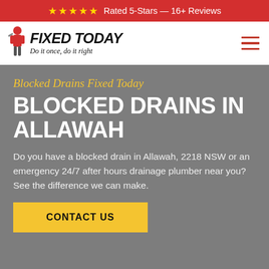★★★★★ Rated 5-Stars — 16+ Reviews
[Figure (logo): Fixed Today logo with mascot plumber figure, bold italic text FIXED TODAY and tagline Do it once, do it right]
Blocked Drains Fixed Today
BLOCKED DRAINS IN ALLAWAH
Do you have a blocked drain in Allawah, 2218 NSW or an emergency 24/7 after hours drainage plumber near you? See the difference we can make.
CONTACT US